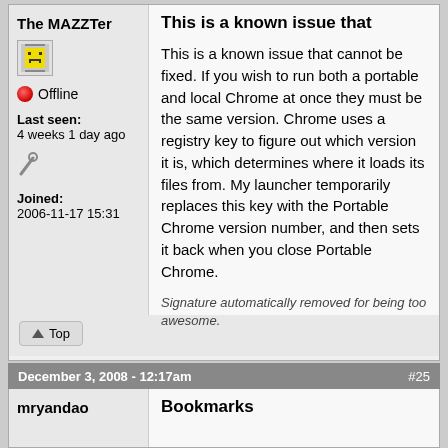The MAZZTer
[Figure (illustration): Avatar icon showing a small pixelated face/emoji on gray background]
Offline
Last seen: 4 weeks 1 day ago
[Figure (illustration): Wrench/hammer tool icon]
Joined: 2006-11-17 15:31
This is a known issue that
This is a known issue that cannot be fixed. If you wish to run both a portable and local Chrome at once they must be the same version. Chrome uses a registry key to figure out which version it is, which determines where it loads its files from. My launcher temporarily replaces this key with the Portable Chrome version number, and then sets it back when you close Portable Chrome.
Signature automatically removed for being too awesome.
Top
December 3, 2008 - 12:17am  #25
mryandao
Bookmarks